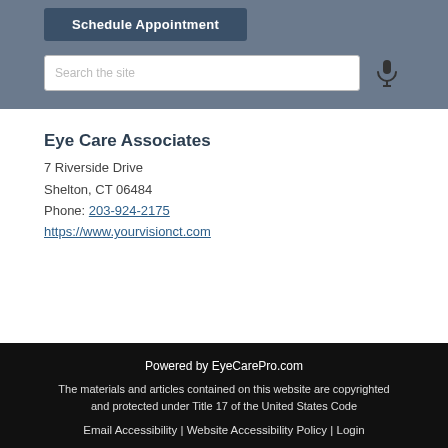Schedule Appointment
Search the site
Eye Care Associates
7 Riverside Drive
Shelton, CT 06484
Phone: 203-924-2175
https://www.yourvisionct.com
Powered by EyeCarePro.com
The materials and articles contained on this website are copyrighted and protected under Title 17 of the United States Code
Email Accessibility | Website Accessibility Policy | Login